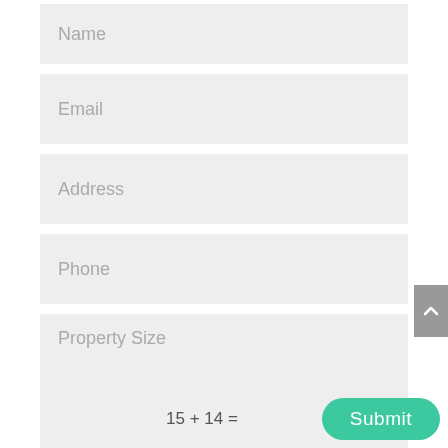Name
Email
Address
Phone
Property Size
Submit